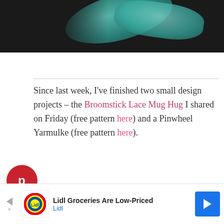[Figure (photo): Partial photo showing teal/green yarn or craft materials on a dark background, cropped at top of page]
Since last week, I've finished two small design projects – the Broomstick Lace Mug Hug I shared on Friday (free pattern here) and a Pinwheel Yarmulke (free pattern here).
[Figure (infographic): Pinterest share button (red circle with P icon)]
[Figure (infographic): Facebook share button (dark blue circle with f icon)]
[Figure (infographic): Twitter share button (light blue circle with bird icon)]
[Figure (screenshot): Lidl advertisement banner: 'Lidl Groceries Are Low-Priced' with Lidl logo and blue navigation arrow]